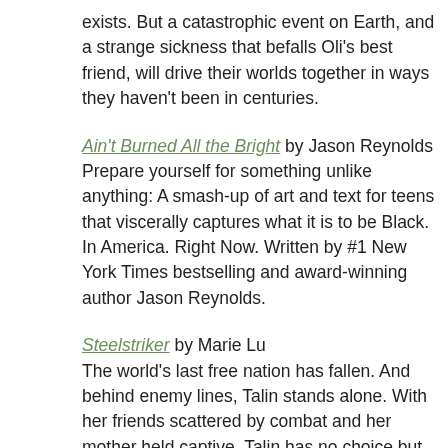exists. But a catastrophic event on Earth, and a strange sickness that befalls Oli's best friend, will drive their worlds together in ways they haven't been in centuries.
Ain't Burned All the Bright by Jason Reynolds
Prepare yourself for something unlike anything: A smash-up of art and text for teens that viscerally captures what it is to be Black. In America. Right Now. Written by #1 New York Times bestselling and award-winning author Jason Reynolds.
Steelstriker by Marie Lu
The world's last free nation has fallen. And behind enemy lines, Talin stands alone. With her friends scattered by combat and her mother held captive, Talin has no choice but to submit to the Federation's experiments and become their most deadly war machine--a Skyhunter. But Red hasn't given up on Talin. Though the link between them is weak, it could be enough. To find their way back to each other. To reunite the Strikers. To fight back against the Federation, against all odds, against all hope. Because the